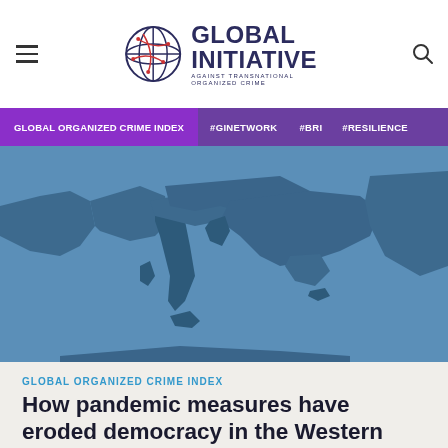GLOBAL INITIATIVE AGAINST TRANSNATIONAL ORGANIZED CRIME
[Figure (map): Blue-toned map showing Europe and the Western Balkans region, with Italy, the Adriatic coast, and southeastern Europe visible in different shades of blue]
GLOBAL ORGANIZED CRIME INDEX
How pandemic measures have eroded democracy in the Western Balkans